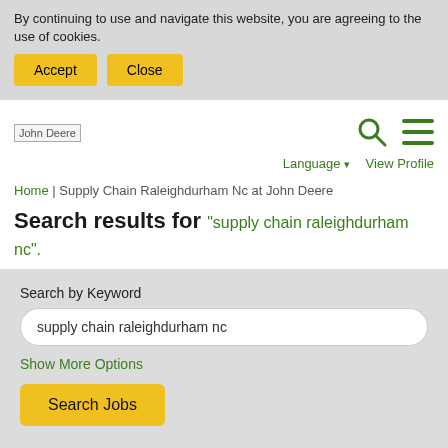By continuing to use and navigate this website, you are agreeing to the use of cookies.
Accept | Close
[Figure (logo): John Deere logo placeholder]
[Figure (other): Search icon (magnifying glass) and hamburger menu icon in green]
Language ▾   View Profile
Home | Supply Chain Raleighdurham Nc at John Deere
Search results for "supply chain raleighdurham nc".
Search by Keyword
supply chain raleighdurham nc
Show More Options
Search Jobs